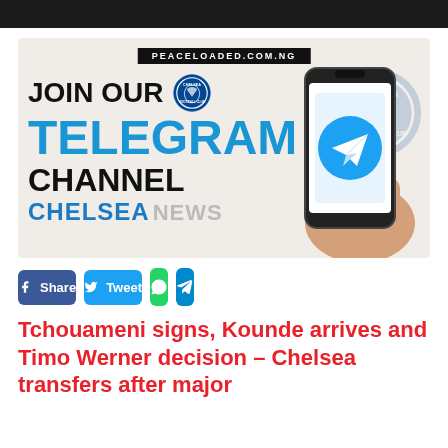[Figure (illustration): Promotional banner for a Chelsea FC Telegram channel on peaceloaded.com.ng. Features bold text 'JOIN OUR TELEGRAM CHANNEL CHELSEA NEWS', Chelsea FC badges, and a hand holding a smartphone displaying the Telegram app icon.]
f Share   Tweet   WhatsApp   Telegram
Tchouameni signs, Kounde arrives and Timo Werner decision – Chelsea transfers after major